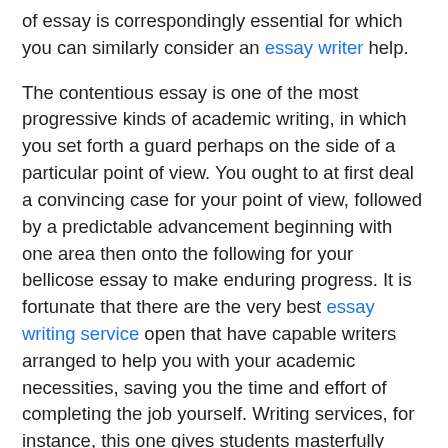of essay is correspondingly essential for which you can similarly consider an essay writer help.
The contentious essay is one of the most progressive kinds of academic writing, in which you set forth a guard perhaps on the side of a particular point of view. You ought to at first deal a convincing case for your point of view, followed by a predictable advancement beginning with one area then onto the following for your bellicose essay to make enduring progress. It is fortunate that there are the very best essay writing service open that have capable writers arranged to help you with your academic necessities, saving you the time and effort of completing the job yourself. Writing services, for instance, this one gives students masterfully conveyed insightful material at a fair cost, and they are expeditiously accessible online